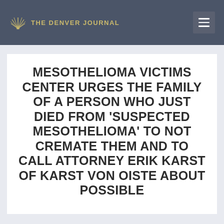THE DENVER JOURNAL
MESOTHELIOMA VICTIMS CENTER URGES THE FAMILY OF A PERSON WHO JUST DIED FROM ‘SUSPECTED MESOTHELIOMA’ TO NOT CREMATE THEM AND TO CALL ATTORNEY ERIK KARST OF KARST VON OISTE ABOUT POSSIBLE